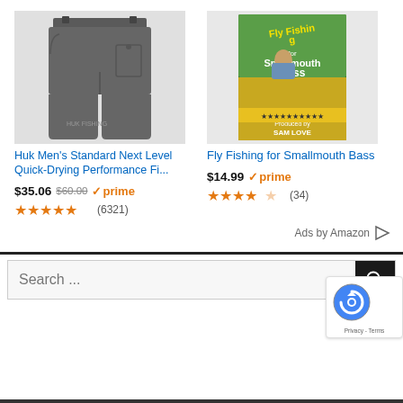[Figure (screenshot): Amazon ad - Huk Men's shorts product image (gray cargo shorts)]
Huk Men's Standard Next Level Quick-Drying Performance Fi...
$35.06 $60.00 ✓prime
★★★★★ (6321)
[Figure (screenshot): Amazon ad - Fly Fishing for Smallmouth Bass book cover]
Fly Fishing for Smallmouth Bass
$14.99 ✓prime
★★★★☆ (34)
Ads by Amazon ▷
Search ...